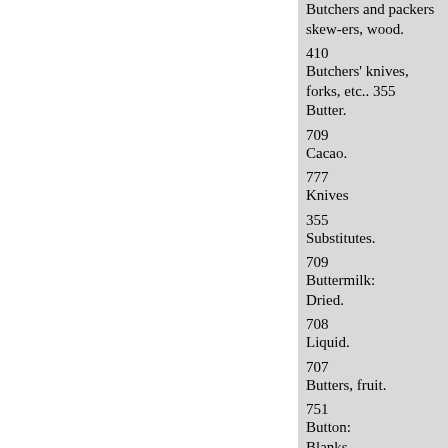Butchers and packers skew-ers, wood.
410
Butchers' knives, forks, etc.. 355
Butter.
709
Cacao.
777
Knives
355
Substitutes.
709
Buttermilk:
Dried.
708
Liquid.
707
Butters, fruit.
751
Button:
Blanks.